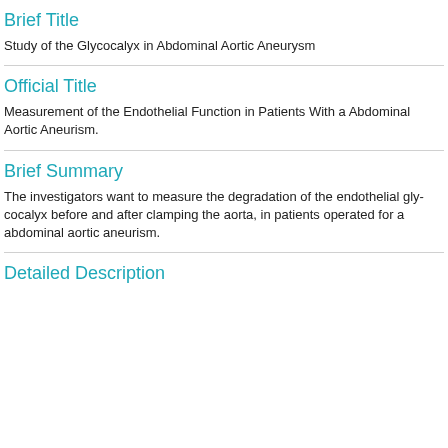Brief Title
Study of the Glycocalyx in Abdominal Aortic Aneurysm
Official Title
Measurement of the Endothelial Function in Patients With a Abdominal Aortic Aneurism.
Brief Summary
The investigators want to measure the degradation of the endothelial glycocalyx before and after clamping the aorta, in patients operated for a abdominal aortic aneurism.
Detailed Description